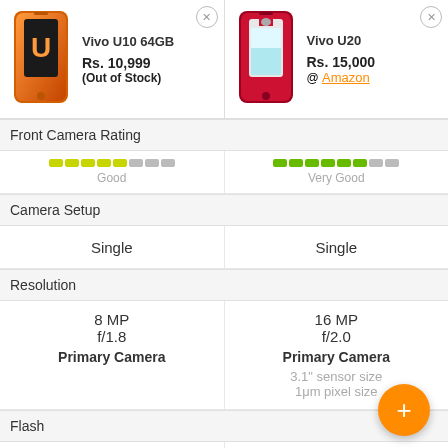[Figure (photo): Vivo U10 64GB phone image - orange/gradient back]
Vivo U10 64GB
Rs. 10,999
(Out of Stock)
[Figure (photo): Vivo U20 phone image - red back with notch]
Vivo U20
Rs. 15,000
@ Amazon
Front Camera Rating
Good
Very Good
Camera Setup
Single
Single
Resolution
8 MP
f/1.8
Primary Camera
16 MP
f/2.0
Primary Camera
3.1" sensor size
1μm pixel size
Flash
N/A
Yes